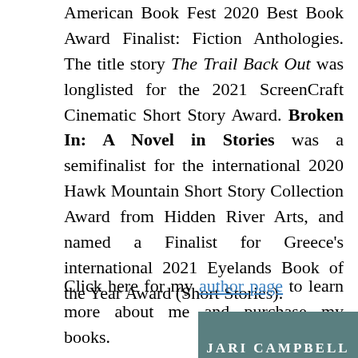American Book Fest 2020 Best Book Award Finalist: Fiction Anthologies. The title story The Trail Back Out was longlisted for the 2021 ScreenCraft Cinematic Short Story Award. Broken In: A Novel in Stories was a semifinalist for the international 2020 Hawk Mountain Short Story Collection Award from Hidden River Arts, and named a Finalist for Greece's international 2021 Eyelands Book of the Year Award (Short Stories).
Click here for my author page to learn more about me and purchase my books.
[Figure (photo): Book cover with teal/dark cyan background showing text 'JARI CAMPBELL' in white uppercase letters at the bottom]